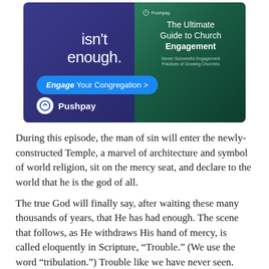[Figure (illustration): Pushpay advertisement banner showing 'isn't enough.' headline text on a dark blue/purple background, with a blue 'Engage Your Congregation >' button, Pushpay logo at the bottom left, and a green panel on the right showing 'The Ultimate Guide to Church Engagement' book cover with subtitle 'Seven Successful Engagement Practices of Growing Churches'.]
During this episode, the man of sin will enter the newly-constructed Temple, a marvel of architecture and symbol of world religion, sit on the mercy seat, and declare to the world that he is the god of all.
The true God will finally say, after waiting these many thousands of years, that He has had enough. The scene that follows, as He withdraws His hand of mercy, is called eloquently in Scripture, “Trouble.” (We use the word “tribulation.”) Trouble like we have never seen. Within three and one half years, to save the planet from total ruin, Jesus returns, catches up His bride, and finishes what God has allowed men to start, with a little help from